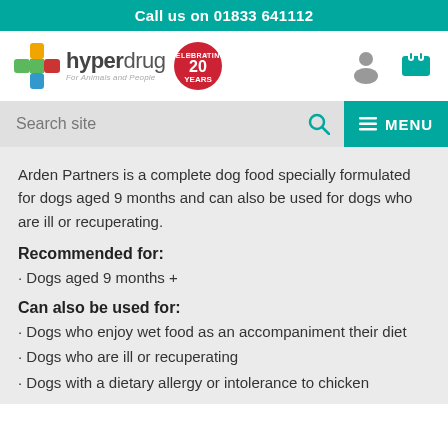Call us on 01833 641112
[Figure (logo): Hyperdrug logo with coloured cross icon, text 'hyperdrug For Animals and People', and a '20 YEARS' badge]
Search site
Arden Partners is a complete dog food specially formulated for dogs aged 9 months and can also be used for dogs who are ill or recuperating.
Recommended for:
• Dogs aged 9 months +
Can also be used for:
• Dogs who enjoy wet food as an accompaniment their diet
• Dogs who are ill or recuperating
• Dogs with a dietary allergy or intolerance to chicken